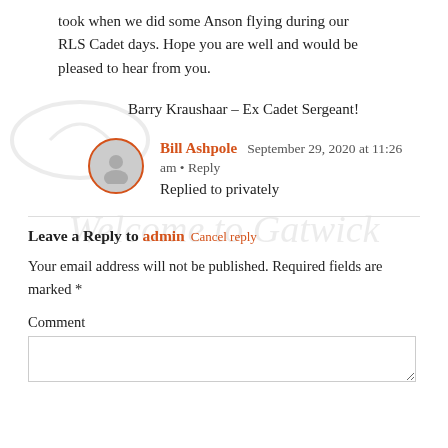took when we did some Anson flying during our RLS Cadet days. Hope you are well and would be pleased to hear from you.
Barry Kraushaar – Ex Cadet Sergeant!
Bill Ashpole  September 29, 2020 at 11:26 am • Reply
Replied to privately
Leave a Reply to admin  Cancel reply
Your email address will not be published. Required fields are marked *
Comment